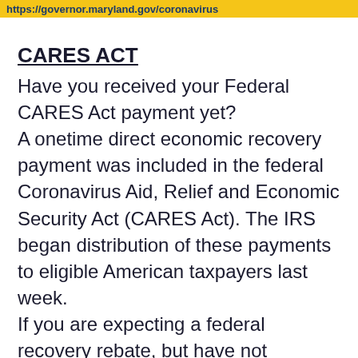https://governor.maryland.gov/coronavirus
CARES ACT
Have you received your Federal CARES Act payment yet? A onetime direct economic recovery payment was included in the federal Coronavirus Aid, Relief and Economic Security Act (CARES Act). The IRS began distribution of these payments to eligible American taxpayers last week. If you are expecting a federal recovery rebate, but have not received it yet, visit the IRS website for more information. Make sure you have your Social Security